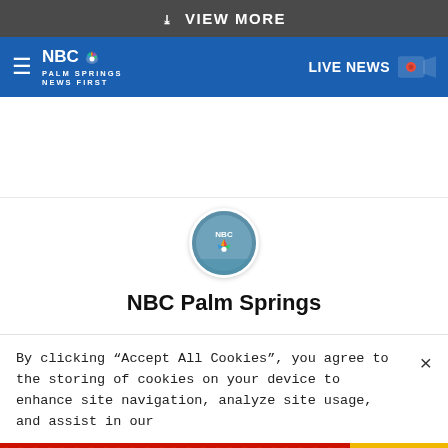VIEW MORE
[Figure (logo): NBC Palm Springs News First logo with peacock icon and hamburger menu on blue header bar, with LIVE NEWS camera icon on right]
[Figure (photo): NBC Palm Springs circular avatar/profile image]
NBC Palm Springs
By clicking “Accept All Cookies”, you agree to the storing of cookies on your device to enhance site navigation, analyze site usage, and assist in our
[Figure (infographic): Advertisement banner with red background showing emoji characters (devil, angel person, winking angel emoji) and text 'BitLi' and 'REAL CHOICE' on dark background]